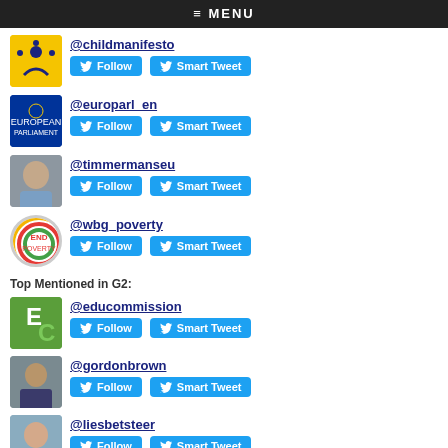≡ MENU
@childmanifesto — Follow | Smart Tweet
@europarl_en — Follow | Smart Tweet
@timmermanseu — Follow | Smart Tweet
@wbg_poverty — Follow | Smart Tweet
Top Mentioned in G2:
@educommission — Follow | Smart Tweet
@gordonbrown — Follow | Smart Tweet
@liesbetsteer — Follow | Smart Tweet